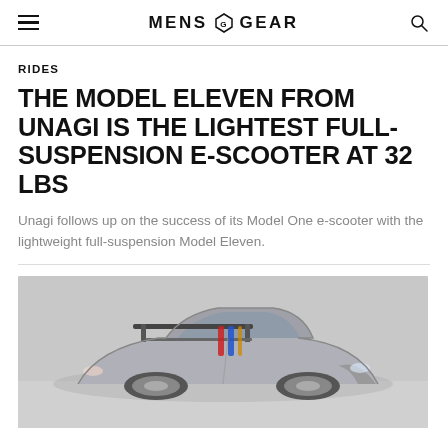MENS GEAR
RIDES
THE MODEL ELEVEN FROM UNAGI IS THE LIGHTEST FULL-SUSPENSION E-SCOOTER AT 32 LBS
Unagi follows up on the success of its Model One e-scooter with the lightweight full-suspension Model Eleven.
[Figure (photo): A silver race car with a large rear spoiler wing, seen from the front-side angle on a gray surface, with colorful harness straps visible inside.]